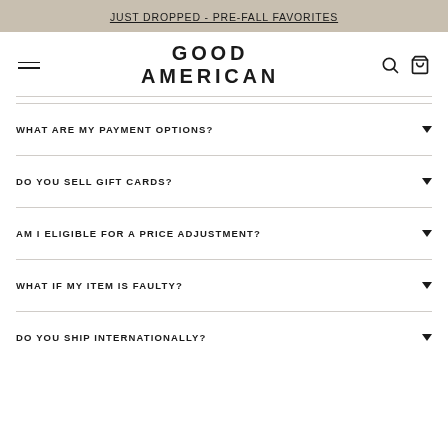JUST DROPPED - PRE-FALL FAVORITES
[Figure (logo): Good American brand logo with hamburger menu, search icon, and cart icon in navigation bar]
WHAT ARE MY PAYMENT OPTIONS?
DO YOU SELL GIFT CARDS?
AM I ELIGIBLE FOR A PRICE ADJUSTMENT?
WHAT IF MY ITEM IS FAULTY?
DO YOU SHIP INTERNATIONALLY?